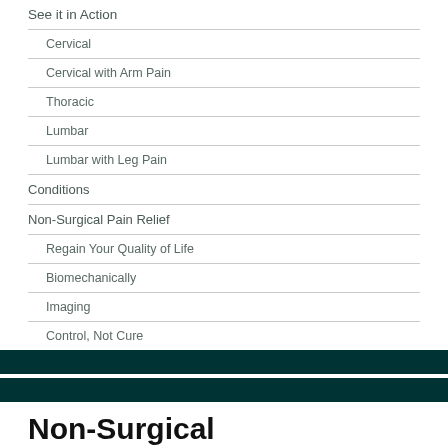See it in Action
Cervical
Cervical with Arm Pain
Thoracic
Lumbar
Lumbar with Leg Pain
Conditions
Non-Surgical Pain Relief
Regain Your Quality of Life
Biomechanically
Imaging
Control, Not Cure
Non-Surgical
Regain Your Quality Of Life
Biomechanically
Imaging